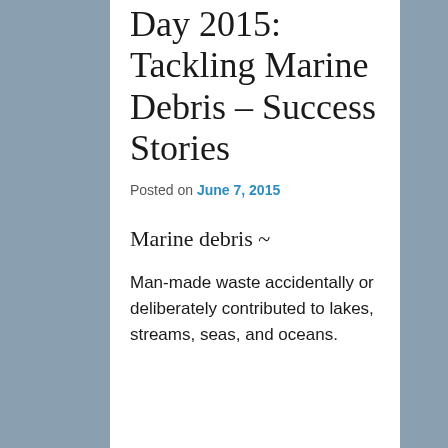Day 2015: Tackling Marine Debris – Success Stories
Posted on June 7, 2015
Marine debris ~
Man-made waste accidentally or deliberately contributed to lakes, streams, seas, and oceans.